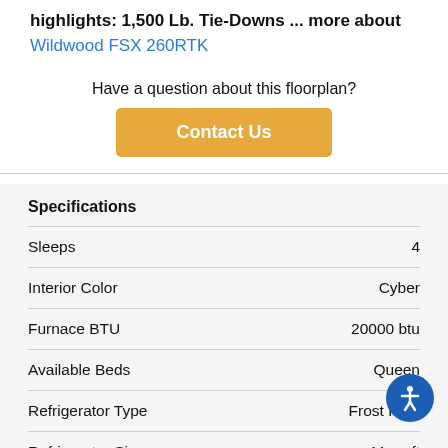highlights: 1,500 Lb. Tie-Downs ... more about
Wildwood FSX 260RTK
Have a question about this floorplan?
Contact Us
Specifications
| Specification | Value |
| --- | --- |
| Sleeps | 4 |
| Interior Color | Cyber |
| Furnace BTU | 20000 btu |
| Available Beds | Queen |
| Refrigerator Type | Frost Free |
| Refrigerator Size | 11 cu ft |
| Cooktop Burners | 3 |
| Shower Size | 36" x 24" |